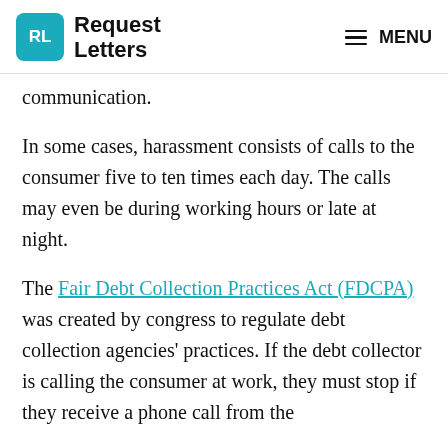Request Letters | MENU
communication.
In some cases, harassment consists of calls to the consumer five to ten times each day. The calls may even be during working hours or late at night.
The Fair Debt Collection Practices Act (FDCPA) was created by congress to regulate debt collection agencies' practices. If the debt collector is calling the consumer at work, they must stop if they receive a phone call from the